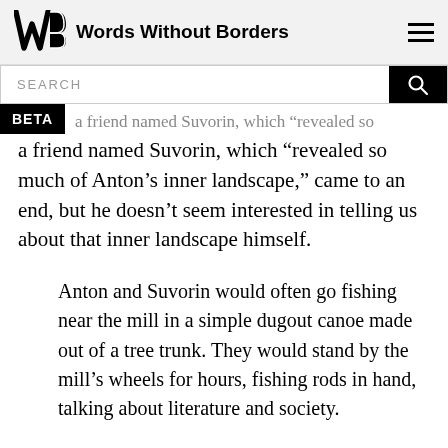Words Without Borders
a friend named Suvorin, which “revealed so much of Anton’s inner landscape,” came to an end, but he doesn’t seem interested in telling us about that inner landscape himself.
Anton and Suvorin would often go fishing near the mill in a simple dugout canoe made out of a tree trunk. They would stand by the mill’s wheels for hours, fishing rods in hand, talking about literature and society.